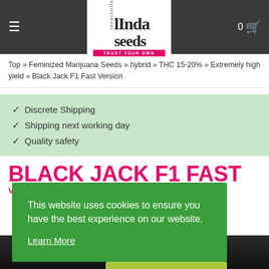linda seeds — TRUST YOUR OWN
Top » Feminized Marijuana Seeds » hybrid » THC 15-20% » Extremely high yield » Black Jack F1 Fast Version
✔ Discrete Shipping
✔ Shipping next working day
✔ Quality safety
BLACK JACK F1 FAST
This website uses cookies to ensure you have the best experience on our website.
Learn More
Allow cookies